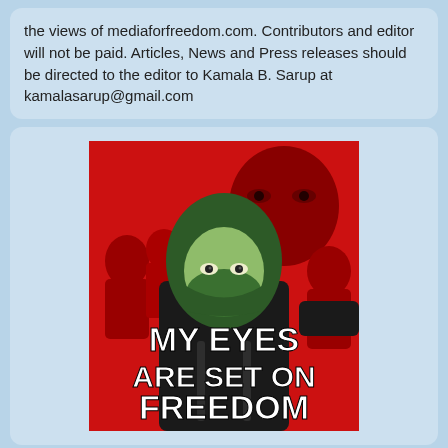the views of mediaforfreedom.com. Contributors and editor will not be paid. Articles, News and Press releases should be directed to the editor to Kamala B. Sarup at kamalasarup@gmail.com
[Figure (photo): A protest poster showing a person wearing a green hoodie and green face mask against a red background with crowd silhouettes. White text reads: MY EYES ARE SET ON FREEDOM]